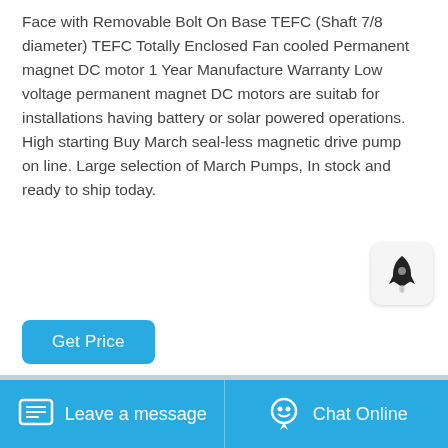Face with Removable Bolt On Base TEFC (Shaft 7/8 diameter) TEFC Totally Enclosed Fan cooled Permanent magnet DC motor 1 Year Manufacture Warranty Low voltage permanent magnet DC motors are suitab for installations having battery or solar powered operations. High starting Buy March seal-less magnetic drive pump on line. Large selection of March Pumps, In stock and ready to ship today.
[Figure (other): Rocket icon button in a rounded square container]
[Figure (photo): Industrial facility interior showing steel framework/scaffolding structure]
Leave a message   Chat Online